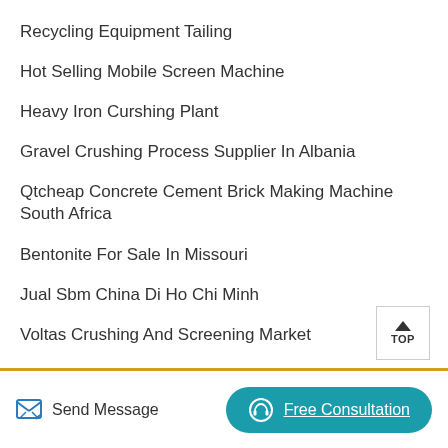Recycling Equipment Tailing
Hot Selling Mobile Screen Machine
Heavy Iron Curshing Plant
Gravel Crushing Process Supplier In Albania
Qtcheap Concrete Cement Brick Making Machine South Africa
Bentonite For Sale In Missouri
Jual Sbm China Di Ho Chi Minh
Voltas Crushing And Screening Market
Sale Nevada Crushers
Granite Stone Cuttingpolishing Project Report
Send Message | Free Consultation